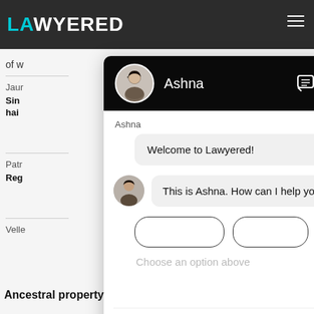[Figure (screenshot): Screenshot of Lawyered legal website with a chat widget overlay. The chat widget shows an agent named Ashna with messages: 'Welcome to Lawyered!' and 'This is Ashna. How can I help you?' with a 'Choose an option above' placeholder in the input area. Background shows partial website content with 'Ancestral property' text and navigation.]